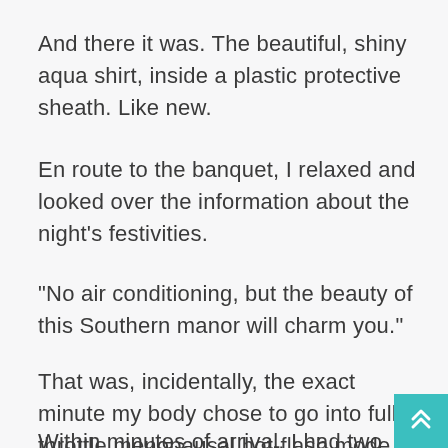And there it was. The beautiful, shiny aqua shirt, inside a plastic protective sheath. Like new.
En route to the banquet, I relaxed and looked over the information about the night’s festivities.
“No air conditioning, but the beauty of this Southern manor will charm you.”
That was, incidentally, the exact minute my body chose to go into full-throttle menopausal hot-flash mode.
Within minutes of arrival, I had two black-on-